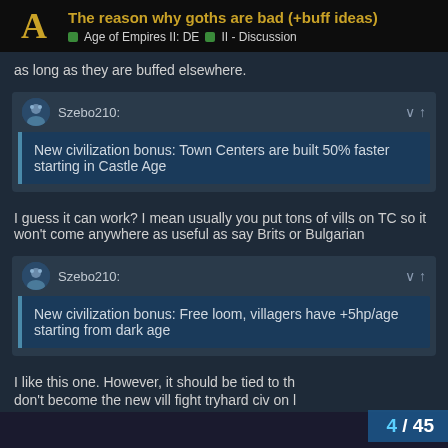The reason why goths are bad (+buff ideas) | Age of Empires II: DE | II - Discussion
as long as they are buffed elsewhere.
Szebo210:
New civilization bonus: Town Centers are built 50% faster starting in Castle Age
I guess it can work? I mean usually you put tons of vills on TC so it won't come anywhere as useful as say Brits or Bulgarian
Szebo210:
New civilization bonus: Free loom, villagers have +5hp/age starting from dark age
I like this one. However, it should be tied to th
don't become the new vill fight tryhard civ on l
4 / 45